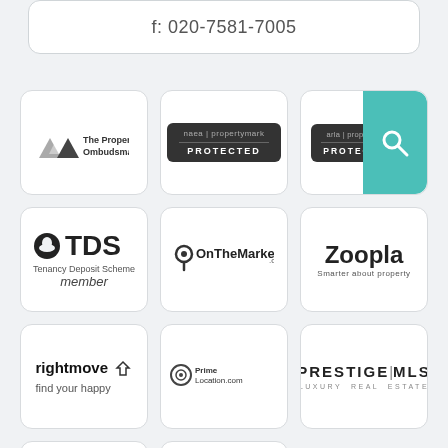f: 020-7581-7005
[Figure (logo): The Property Ombudsman logo with triangle icon]
[Figure (logo): naea | propertymark PROTECTED badge]
[Figure (logo): arla | propertymark PROTECTED badge with teal search button overlay]
[Figure (logo): TDS Tenancy Deposit Scheme member logo]
[Figure (logo): OnTheMarket.com logo]
[Figure (logo): Zoopla - Smarter about property logo]
[Figure (logo): rightmove find your happy logo]
[Figure (logo): PrimeLocation.com logo]
[Figure (logo): PRESTIGE|MLS LUXURY REAL ESTATE logo]